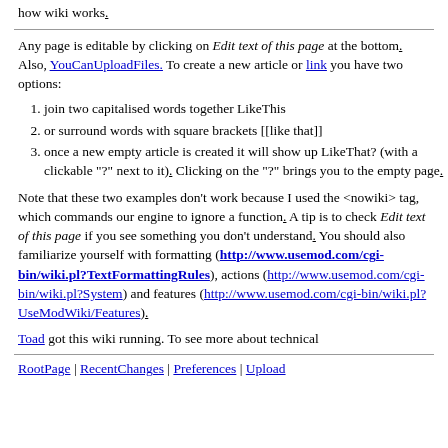how wiki works.
Any page is editable by clicking on Edit text of this page at the bottom. Also, YouCanUploadFiles. To create a new article or link you have two options:
join two capitalised words together LikeThis
or surround words with square brackets [[like that]]
once a new empty article is created it will show up LikeThat? (with a clickable "?" next to it). Clicking on the "?" brings you to the empty page.
Note that these two examples don't work because I used the <nowiki> tag, which commands our engine to ignore a function. A tip is to check Edit text of this page if you see something you don't understand. You should also familiarize yourself with formatting (http://www.usemod.com/cgi-bin/wiki.pl?TextFormattingRules), actions (http://www.usemod.com/cgi-bin/wiki.pl?System) and features (http://www.usemod.com/cgi-bin/wiki.pl?UseModWiki/Features).
Toad got this wiki running. To see more about technical
RootPage | RecentChanges | Preferences | Upload